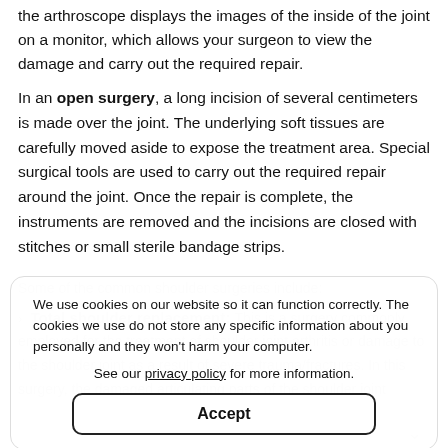the arthroscope displays the images of the inside of the joint on a monitor, which allows your surgeon to view the damage and carry out the required repair.
In an open surgery, a long incision of several centimeters is made over the joint. The underlying soft tissues are carefully moved aside to expose the treatment area. Special surgical tools are used to carry out the required repair around the joint. Once the repair is complete, the instruments are removed and the incisions are closed with stitches or small sterile bandage strips.
Some of the common shoulder surgeries include:
Total shoulder replacement: This is a surgery commonly employed for the treatment of shoulder joint arthritis or damage to the shoulder joint as a result of severe trauma/fractures. In this surgery, the damaged articulating parts of the shoulder joint
We use cookies on our website so it can function correctly. The cookies we use do not store any specific information about you personally and they won't harm your computer.
See our privacy policy for more information.
Accept